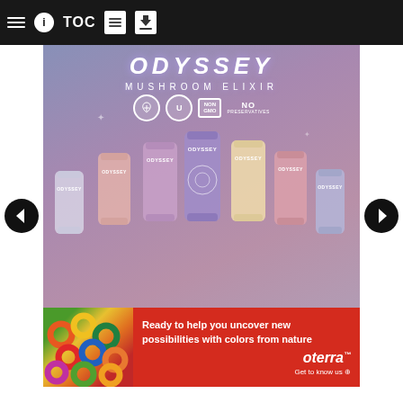Navigation bar with hamburger menu, info, TOC, document, and download icons
[Figure (photo): Odyssey Mushroom Elixir advertisement showing multiple colorful cans arranged in a futuristic glowing grid/neon background with text 'ODYSSEY MUSHROOM ELIXIR', certification logos (Vegan, Kosher U, Non-GMO, No Preservatives), and 'FREE YOUR MIND' tagline at bottom]
[Figure (photo): Oterra advertisement banner with colorful cereal rings photo on left and red background on right with text: 'Ready to help you uncover new possibilities with colors from nature' and oterra logo with 'Get to know us' CTA]